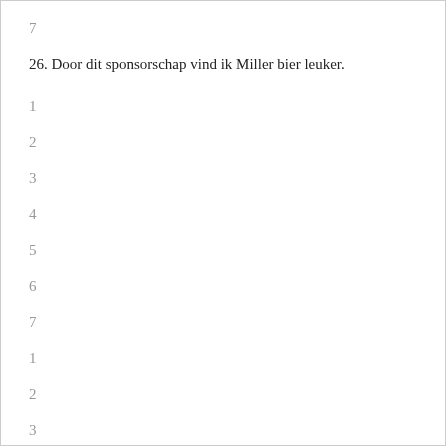7
26. Door dit sponsorschap vind ik Miller bier leuker.
1
2
3
4
5
6
7
1
2
3